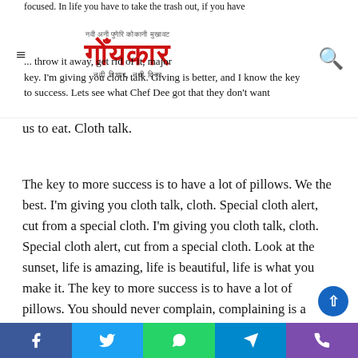गोयकार — नवी विचार, नवी दिका
focused. In life you have to take the trash out, if you have trash in your life, throw it away, get rid of it, major key. I'm giving you cloth talk. Giving is better, and I know the key to success. Lets see what Chef Dee got that they don't want us to eat. Cloth talk.
The key to more success is to have a lot of pillows. We the best. I'm giving you cloth talk, cloth. Special cloth alert, cut from a special cloth. I'm giving you cloth talk, cloth. Special cloth alert, cut from a special cloth. Look at the sunset, life is amazing, life is beautiful, life is what you make it. The key to more success is to have a lot of pillows. You should never complain, complaining is a weak emotion, you got life, we breathing, we blessed. You see the hedges, how I got it shaped up? It's important to shape up your hedges, it's like getting a haircut, stay fresh. The other day the grass was
Facebook | Twitter | WhatsApp | Telegram | Phone